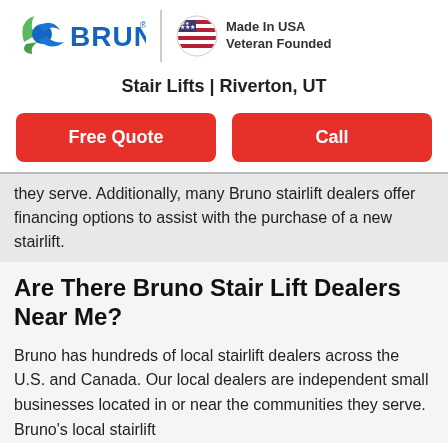[Figure (logo): Bruno logo with green and blue bird/swoosh graphic and BRUNO wordmark in blue, followed by a vertical divider and a circular US flag badge with text 'Made In USA Veteran Founded']
Stair Lifts | Riverton, UT
Free Quote
Call
they serve. Additionally, many Bruno stairlift dealers offer financing options to assist with the purchase of a new stairlift.
Are There Bruno Stair Lift Dealers Near Me?
Bruno has hundreds of local stairlift dealers across the U.S. and Canada. Our local dealers are independent small businesses located in or near the communities they serve. Bruno's local stairlift